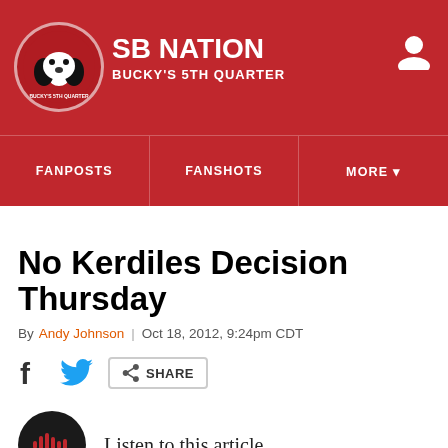SB NATION — BUCKY'S 5TH QUARTER
FANPOSTS | FANSHOTS | MORE
No Kerdiles Decision Thursday
By Andy Johnson | Oct 18, 2012, 9:24pm CDT
[Figure (other): Social sharing bar with Facebook, Twitter, and Share icons]
[Figure (other): Listen to this article button with dark circular play icon and sound wave symbol]